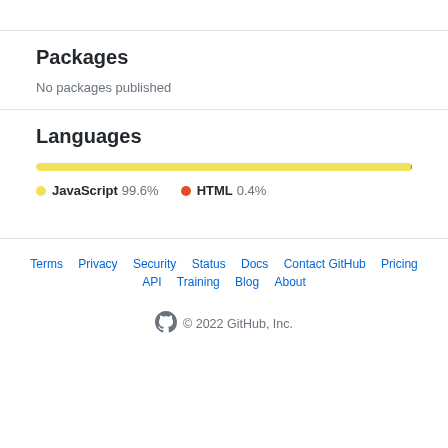Packages
No packages published
Languages
[Figure (stacked-bar-chart): Languages]
JavaScript 99.6%  HTML 0.4%
Terms  Privacy  Security  Status  Docs  Contact GitHub  Pricing  API  Training  Blog  About  © 2022 GitHub, Inc.